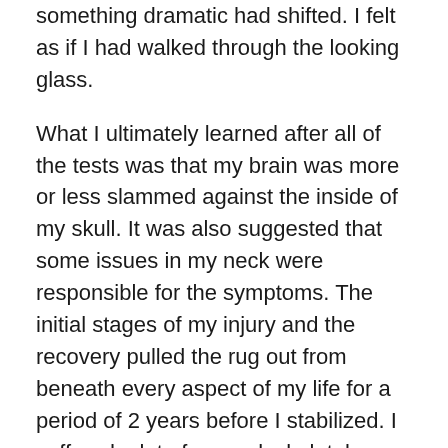something dramatic had shifted. I felt as if I had walked through the looking glass.
What I ultimately learned after all of the tests was that my brain was more or less slammed against the inside of my skull. It was also suggested that some issues in my neck were responsible for the symptoms. The initial stages of my injury and the recovery pulled the rug out from beneath every aspect of my life for a period of 2 years before I stabilized. I suffered a lot of musculoskeletal trauma with constant pain, and I eventually recovered about 70% from that. I have a great deal of scar tissue.  I was told by my health care team that I had suffered a traumatic brain injury specific to my frontal lobe, and the goal was to become functional in life with it. For a period of time, I slept about 12 hours a night, could not remember beyond the normal things we forget and I was a disaster. Losing